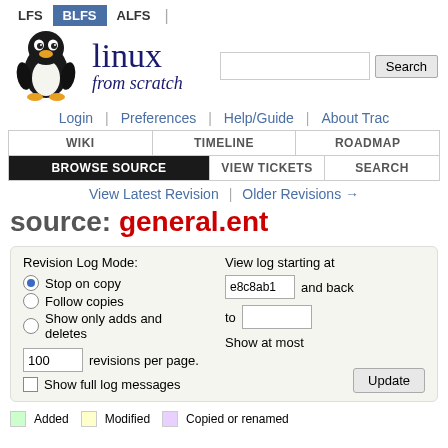LFS | BLFS | ALFS
[Figure (logo): Linux From Scratch Tux penguin logo with Linux from scratch text and search box]
Login | Preferences | Help/Guide | About Trac
WIKI | TIMELINE | ROADMAP
BROWSE SOURCE | VIEW TICKETS | SEARCH
View Latest Revision | Older Revisions →
source: general.ent
Revision Log Mode:
Stop on copy
Follow copies
Show only adds and deletes
100 revisions per page.
Show full log messages
View log starting at e8c8ab1 and back
to
Show at most
Update